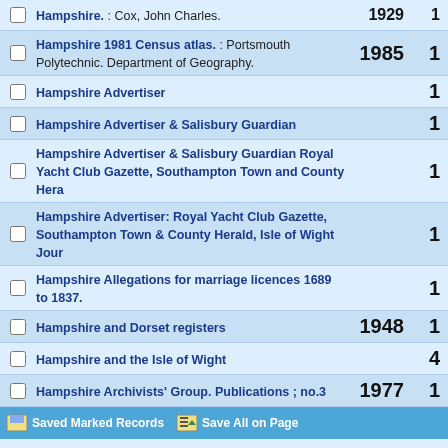Hampshire. : Cox, John Charles. 1929 1
Hampshire 1981 Census atlas. : Portsmouth Polytechnic. Department of Geography. 1985 1
Hampshire Advertiser 1
Hampshire Advertiser & Salisbury Guardian 1
Hampshire Advertiser & Salisbury Guardian Royal Yacht Club Gazette, Southampton Town and County Hera 1
Hampshire Advertiser: Royal Yacht Club Gazette, Southampton Town & County Herald, Isle of Wight Jour 1
Hampshire Allegations for marriage licences 1689 to 1837. 1
Hampshire and Dorset registers 1948 1
Hampshire and the Isle of Wight 4
Hampshire Archivists' Group. Publications ; no.3 1977 1
Saved Marked Records  Save All on Page  Result Page Prev Next
Start Again  Expand Display  Limit/Sort Search
Search As Words